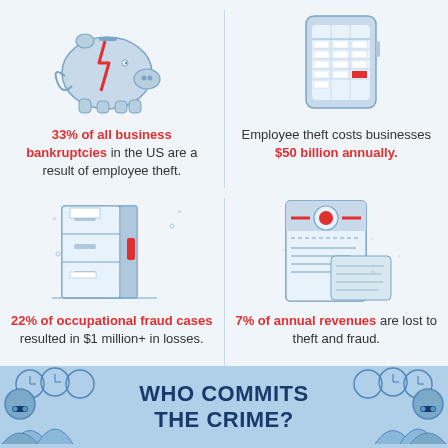[Figure (illustration): Broken piggy bank illustration]
33% of all business bankruptcies in the US are a result of employee theft.
[Figure (illustration): Calendar/calculator illustration]
Employee theft costs businesses $50 billion annually.
[Figure (illustration): Filing cabinet illustration]
22% of occupational fraud cases resulted in $1 million+ in losses.
[Figure (illustration): Document/report with badge illustration]
7% of annual revenues are lost to theft and fraud.
WHO COMMITS THE CRIME?